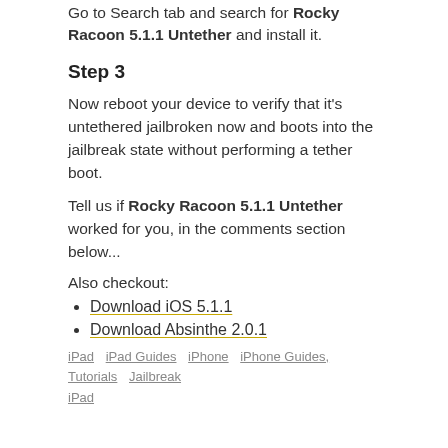Go to Search tab and search for Rocky Racoon 5.1.1 Untether and install it.
Step 3
Now reboot your device to verify that it's untethered jailbroken now and boots into the jailbreak state without performing a tether boot.
Tell us if Rocky Racoon 5.1.1 Untether worked for you, in the comments section below...
Also checkout:
Download iOS 5.1.1
Download Absinthe 2.0.1
iPad   iPad Guides   iPhone   iPhone Guides, Tutorials   Jailbreak   iPad